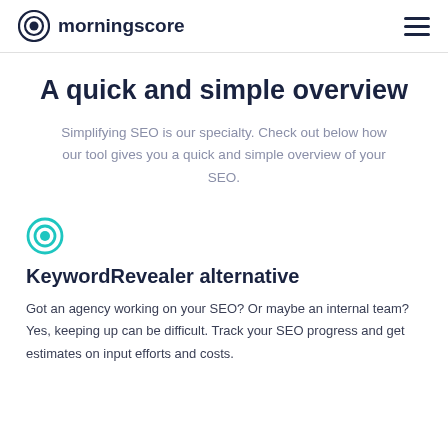morningscore
A quick and simple overview
Simplifying SEO is our specialty. Check out below how our tool gives you a quick and simple overview of your SEO.
[Figure (logo): Morningscore teal circular bullseye icon]
KeywordRevealer alternative
Got an agency working on your SEO? Or maybe an internal team? Yes, keeping up can be difficult. Track your SEO progress and get estimates on input efforts and costs.